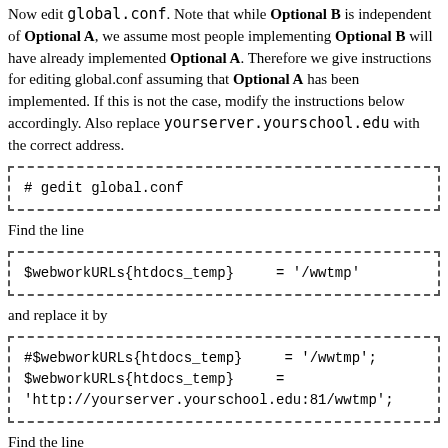Now edit global.conf. Note that while Optional B is independent of Optional A, we assume most people implementing Optional B will have already implemented Optional A. Therefore we give instructions for editing global.conf assuming that Optional A has been implemented. If this is not the case, modify the instructions below accordingly. Also replace yourserver.yourschool.edu with the correct address.
# gedit global.conf
Find the line
$webworkURLs{htdocs_temp}    = '/wwtmp'
and replace it by
#$webworkURLs{htdocs_temp}    = '/wwtmp';
$webworkURLs{htdocs_temp}    =
'http://yourserver.yourschool.edu:81/wwtmp';
Find the line